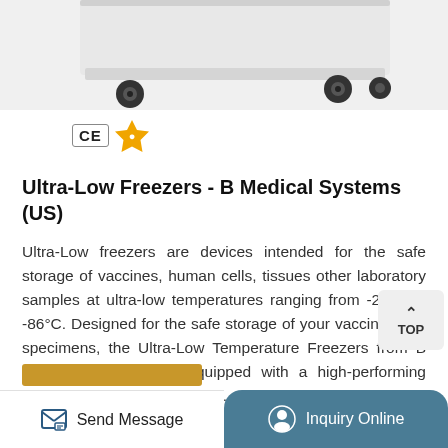[Figure (photo): Ultra-low freezer product photo showing white medical freezer with wheels/casters, partially visible at top of page]
[Figure (logo): CE certification mark badge and golden supplier badge icons]
Ultra-Low Freezers - B Medical Systems (US)
Ultra-Low freezers are devices intended for the safe storage of vaccines, human cells, tissues other laboratory samples at ultra-low temperatures ranging from -20°C to -86°C. Designed for the safe storage of your vaccines and specimens, the Ultra-Low Temperature Freezers from B Medical Systems are equipped with a high-performing cooling system that ensures ...
[Figure (other): Orange/gold colored button bar at bottom of content area]
Send Message | Inquiry Online